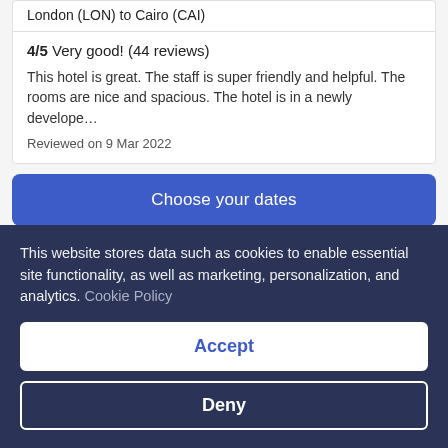London (LON) to Cairo (CAI)
4/5 Very good! (44 reviews)
This hotel is great. The staff is super friendly and helpful. The rooms are nice and spacious. The hotel is in a newly develope…
Reviewed on 9 Mar 2022
Choose your dates
Where to stay in Cairo
Find the best Cairo areas and neighborhoods for the activities you
This website stores data such as cookies to enable essential site functionality, as well as marketing, personalization, and analytics. Cookie Policy
Accept
Deny